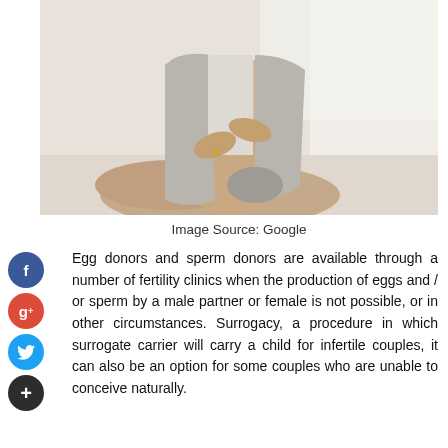[Figure (photo): Pregnant woman sitting cross-legged on a bed, holding her belly with both hands, wearing a light grey outfit, soft bright background]
Image Source: Google
Egg donors and sperm donors are available through a number of fertility clinics when the production of eggs and / or sperm by a male partner or female is not possible, or in other circumstances. Surrogacy, a procedure in which surrogate carrier will carry a child for infertile couples, it can also be an option for some couples who are unable to conceive naturally.